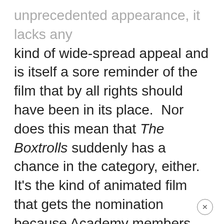unprecedented appearance, it lacks any kind of wide-spread appeal and is itself a sore reminder of the film that by all rights should have been in its place.  Nor does this mean that The Boxtrolls suddenly has a chance in the category, either.  It's the kind of animated film that gets the nomination because Academy members take their kids (or, what's more likely, grandkids) to see it and some of that youthful excitement rubs off on the curmudgeony adults that took them there.